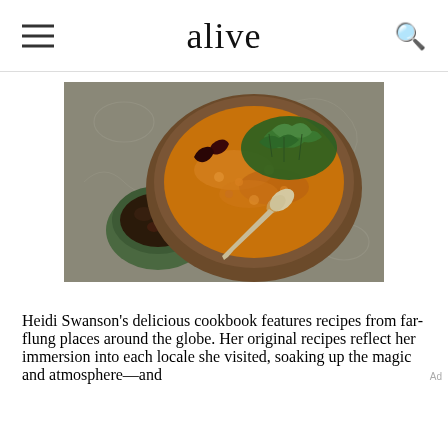alive
[Figure (photo): Overhead view of a wooden bowl filled with golden curry soup topped with fresh cilantro and dried chilis, with a silver spoon resting in it, next to a small green bowl with a dark chutney or condiment, on a decorative blue-gray surface.]
Heidi Swanson's delicious cookbook features recipes from far-flung places around the globe. Her original recipes reflect her immersion into each locale she visited, soaking up the magic and atmosphere—and